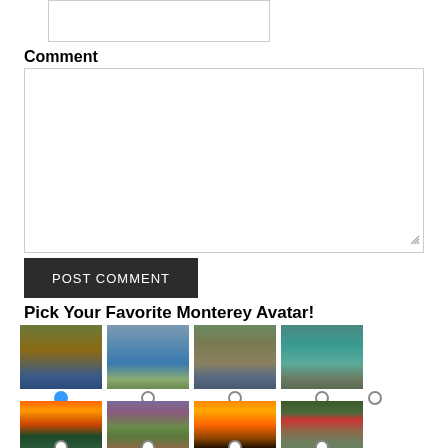[Figure (screenshot): A text input box (partially visible at top)]
Comment
[Figure (screenshot): Comment text area input box]
[Figure (screenshot): POST COMMENT button (dark background)]
Pick Your Favorite Monterey Avatar!
[Figure (photo): First row of 4 Monterey landscape avatar photos with radio buttons below each]
[Figure (photo): Second row of 4 Monterey landscape avatar photos with radio buttons below each (partially visible)]